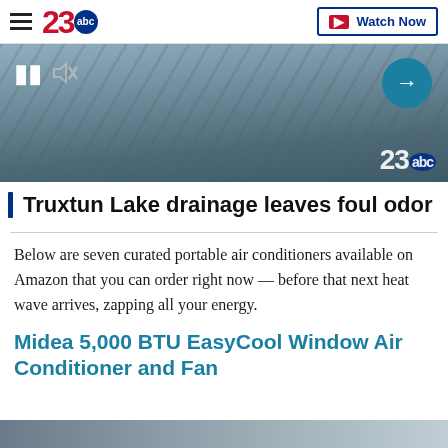23abc | Watch Now
[Figure (screenshot): Video thumbnail of Truxtun Lake with pause and mute controls, arrow button, and 23abc watermark logo]
Truxtun Lake drainage leaves foul odor
Below are seven curated portable air conditioners available on Amazon that you can order right now — before that next heat wave arrives, zapping all your energy.
Midea 5,000 BTU EasyCool Window Air Conditioner and Fan
[Figure (photo): Partial bottom image strip showing product photo]